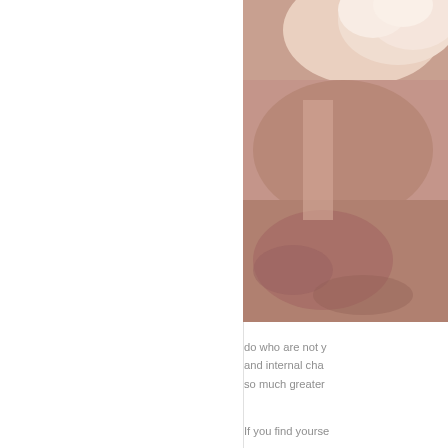[Figure (photo): Close-up photo of a person's torso/hand area with warm skin tones, partially cropped on the right side of the page]
do who are not y and internal cha so much greater
If you find yourse